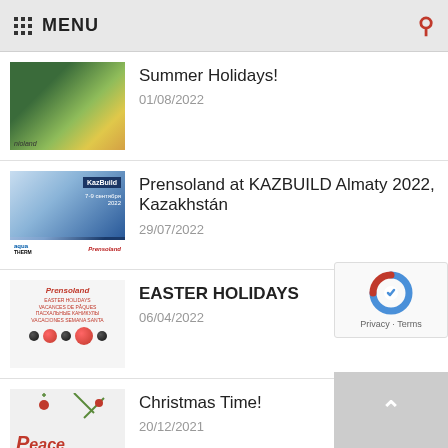MENU
Summer Holidays! 01/08/2022
Prensoland at KAZBUILD Almaty 2022, Kazakhstán 29/07/2022
EASTER HOLIDAYS 06/04/2022
Christmas Time! 20/12/2021
BANK HOLIDAY / 6TH-8TH DECEMBER!